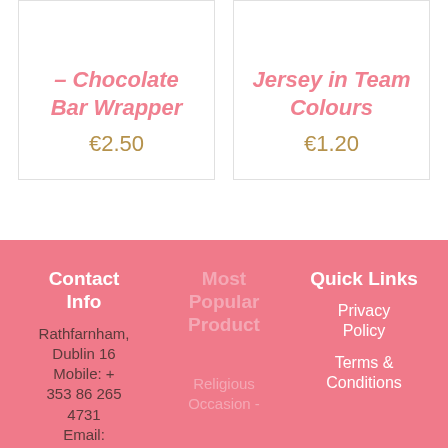– Chocolate Bar Wrapper
€2.50
Jersey in Team Colours
€1.20
Contact Info
Rathfarnham, Dublin 16
Mobile: + 353 86 265 4731
Email:
Most Popular Product
Religious Occasion -
Quick Links
Privacy Policy
Terms & Conditions